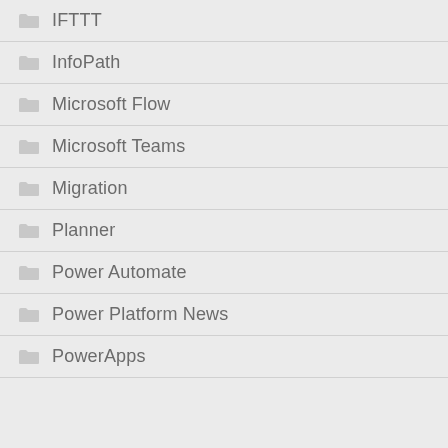IFTTT
InfoPath
Microsoft Flow
Microsoft Teams
Migration
Planner
Power Automate
Power Platform News
PowerApps